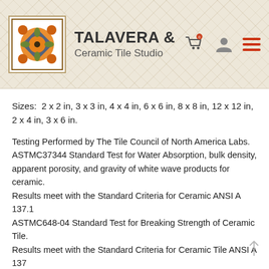[Figure (logo): Talavera & Ceramic Tile Studio logo with decorative tile graphic and brand name]
Sizes:  2 x 2 in, 3 x 3 in, 4 x 4 in, 6 x 6 in, 8 x 8 in, 12 x 12 in, 2 x 4 in, 3 x 6 in.
Testing Performed by The Tile Council of North America Labs.
ASTMC37344 Standard Test for Water Absorption, bulk density, apparent porosity, and gravity of white wave products for ceramic.
Results meet with the Standard Criteria for Ceramic ANSI A 137.1
ASTMC648-04 Standard Test for Breaking Strength of Ceramic Tile.
Results meet with the Standard Criteria for Ceramic Tile ANSI A 137